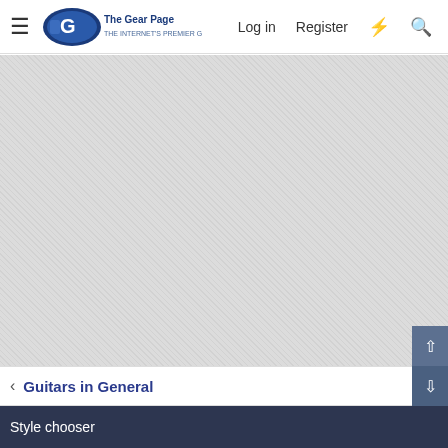The Gear Page — Log in  Register
[Figure (screenshot): Large grey textured/hatched content area, blank]
< Guitars in General
Style chooser